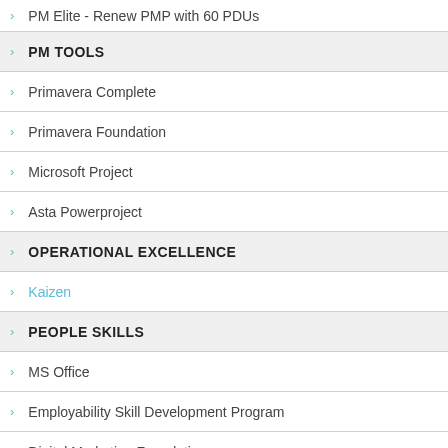PM Elite - Renew PMP with 60 PDUs
PM TOOLS
Primavera Complete
Primavera Foundation
Microsoft Project
Asta Powerproject
OPERATIONAL EXCELLENCE
Kaizen
PEOPLE SKILLS
MS Office
Employability Skill Development Program
Digital Marketing Foundation
Diploma in Sales
Diploma in HRM